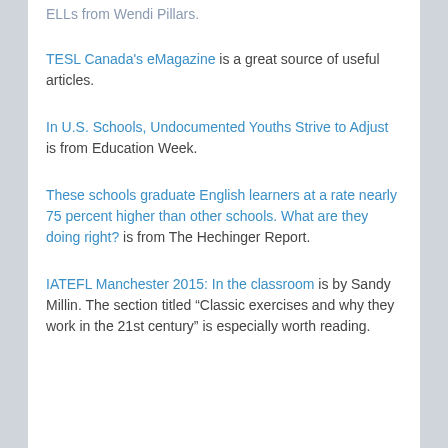ELLs from Wendi Pillars.
TESL Canada's eMagazine is a great source of useful articles.
In U.S. Schools, Undocumented Youths Strive to Adjust is from Education Week.
These schools graduate English learners at a rate nearly 75 percent higher than other schools. What are they doing right? is from The Hechinger Report.
IATEFL Manchester 2015: In the classroom is by Sandy Millin. The section titled “Classic exercises and why they work in the 21st century” is especially worth reading.